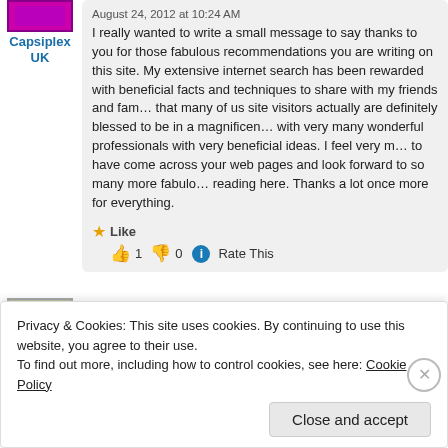[Figure (illustration): Capsiplex UK avatar/logo box in purple]
Capsiplex UK
August 24, 2012 at 10:24 AM
I really wanted to write a small message to say thanks to you for those fabulous recommendations you are writing on this site. My extensive internet search has been rewarded with beneficial facts and techniques to share with my friends and family. I feel that many of us site visitors actually are definitely blessed to be in a magnificent site with very many wonderful professionals with very beneficial ideas. I feel very much happy to have come across your web pages and look forward to so many more fabulous moments reading here. Thanks a lot once more for everything.
Like  👍 1  👎 0  ℹ Rate This
[Figure (illustration): Trademarks avatar - pixel art style character]
Trademarks
Privacy & Cookies: This site uses cookies. By continuing to use this website, you agree to their use.
To find out more, including how to control cookies, see here: Cookie Policy
Close and accept